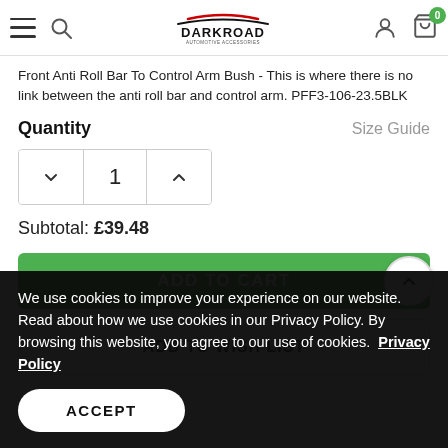[Figure (screenshot): E-commerce website header with hamburger menu, search icon, Darkroad logo, user icon, and cart icon with badge showing 0]
Front Anti Roll Bar To Control Arm Bush - This is where there is no link between the anti roll bar and control arm. PFF3-106-23.5BLK
Quantity
Size Guide
1
Subtotal: £39.48
ADD TO CART
ADD TO WISH LIST
We use cookies to improve your experience on our website. Read about how we use cookies in our Privacy Policy. By browsing this website, you agree to our use of cookies.  Privacy Policy
ACCEPT